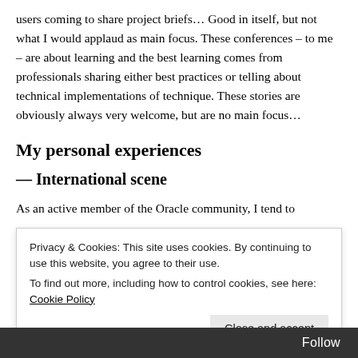users coming to share project briefs... Good in itself, but not what I would applaud as main focus. These conferences – to me – are about learning and the best learning comes from professionals sharing either best practices or telling about technical implementations of technique. These stories are obviously always very welcome, but are no main focus...
My personal experiences
— International scene
As an active member of the Oracle community, I tend to
Flores from Mexico, with Tim Hall, aka. Oracle Base
Privacy & Cookies: This site uses cookies. By continuing to use this website, you agree to their use. To find out more, including how to control cookies, see here: Cookie Policy
Close and accept
Follow